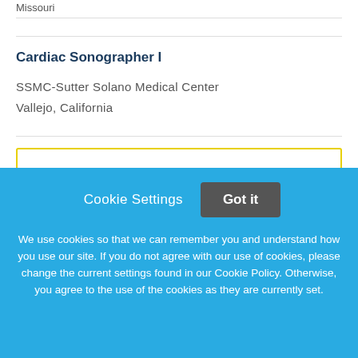Missouri
Cardiac Sonographer I
SSMC-Sutter Solano Medical Center
Vallejo, California
[Figure (logo): Mint Medical Logo placeholder image]
Cookie Settings  Got it
We use cookies so that we can remember you and understand how you use our site. If you do not agree with our use of cookies, please change the current settings found in our Cookie Policy. Otherwise, you agree to the use of the cookies as they are currently set.